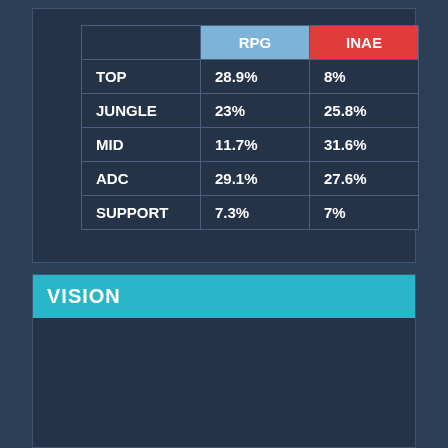|  | RPG | INAE |
| --- | --- | --- |
| TOP | 28.9% | 8% |
| JUNGLE | 23% | 25.8% |
| MID | 11.7% | 31.6% |
| ADC | 29.1% | 27.6% |
| SUPPORT | 7.3% | 7% |
VISION